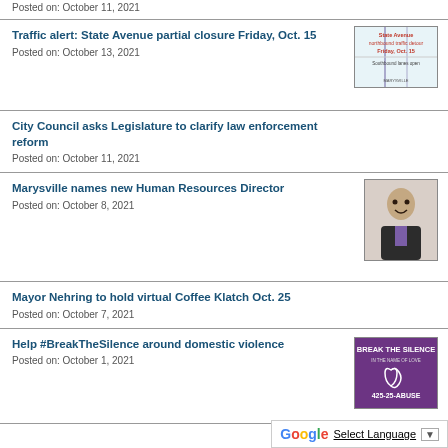Posted on: October 11, 2021
Traffic alert: State Avenue partial closure Friday, Oct. 15
Posted on: October 13, 2021
[Figure (photo): State Avenue northbound traffic detour map for Friday, Oct. 15]
City Council asks Legislature to clarify law enforcement reform
Posted on: October 11, 2021
Marysville names new Human Resources Director
Posted on: October 8, 2021
[Figure (photo): Portrait of the new Human Resources Director, a man in a dark suit with purple tie]
Mayor Nehring to hold virtual Coffee Klatch Oct. 25
Posted on: October 7, 2021
Help #BreakTheSilence around domestic violence
Posted on: October 1, 2021
[Figure (photo): Break The Silence around domestic violence purple graphic with phone number 425-25-ABUSE]
Select Language